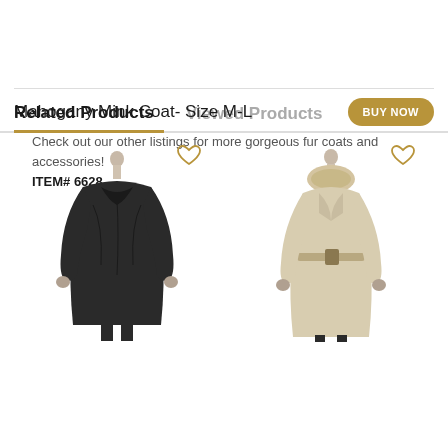Mahogany Mink Coat- Size M-L
Check out our other listings for more gorgeous fur coats and accessories!
ITEM# 6628
Related Products
Viewed Products
[Figure (photo): Dark black mink fur coat on mannequin]
[Figure (photo): Beige coat with fur collar on mannequin]
FREE SHIPPING!